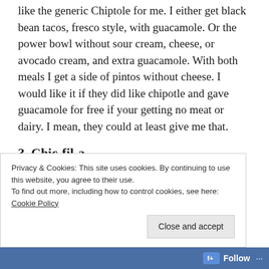like the generic Chiptole for me. I either get black bean tacos, fresco style, with guacamole. Or the power bowl without sour cream, cheese, or avocado cream, and extra guacamole. With both meals I get a side of pintos without cheese. I would like it if they did like chipotle and gave guacamole for free if your getting no meat or dairy. I mean, they could at least give me that.
3. Chic-fil-a
I feel better about getting Chic-fil-a for myself
Privacy & Cookies: This site uses cookies. By continuing to use this website, you agree to their use.
To find out more, including how to control cookies, see here: Cookie Policy